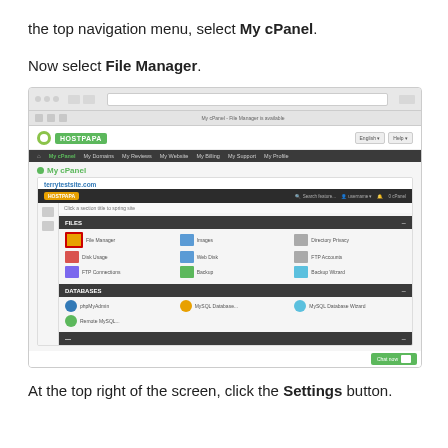the top navigation menu, select My cPanel.
Now select File Manager.
[Figure (screenshot): Screenshot of the HostPapa cPanel interface showing the My cPanel page with the File Manager icon highlighted with a red border in the FILES section. The interface shows a browser window with HostPapa navigation bar, inner cPanel panel for terrytestsite.com, sections including FILES (with File Manager, Images, Directory Privacy, Disk Usage, Web Disk, FTP Accounts, FTP Connections, Backup, Backup Wizard) and DATABASES (phpMyAdmin, MySQL Database, MySQL Database Wizard, Remote MySQL). A green chat button is visible at bottom right.]
At the top right of the screen, click the Settings button.